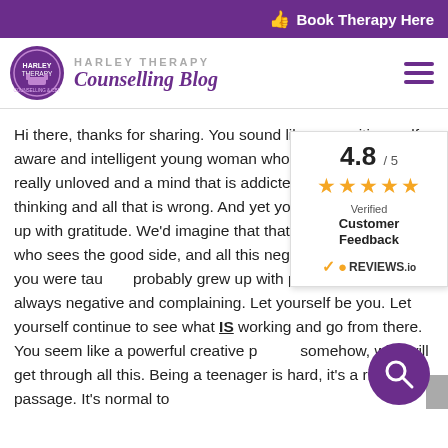Book Therapy Here
HARLEY THERAPY Counselling Blog
Hi there, thanks for sharing. You sound like a sensitive, self aware and intelligent young woman who suffers from feeling really unloved and a mind that is addicted to negative thinking and all that is wrong. And yet you realise this, and it up with gratitude. We'd imagine that that is you, that person who sees the good side, and all this negativity is something you were taught, probably grew up with people who are always negative and complaining. Let yourself be you. Let yourself continue to see what IS working and go from there. You seem like a powerful creative person somehow, who will get through all this. Being a teenager is hard, it's a rite of passage. It's normal to
[Figure (other): Rating widget showing 4.8/5 with orange stars, Verified Customer Feedback badge, and REVIEWS.io logo]